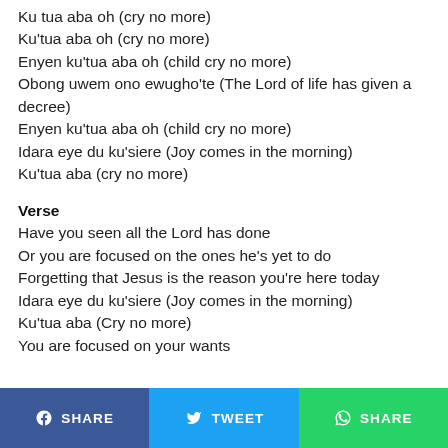Ku tua aba oh (cry no more)
Ku'tua aba oh (cry no more)
Enyen ku'tua aba oh (child cry no more)
Obong uwem ono ewugho'te (The Lord of life has given a decree)
Enyen ku'tua aba oh (child cry no more)
Idara eye du ku'siere (Joy comes in the morning)
Ku'tua aba (cry no more)
Verse
Have you seen all the Lord has done
Or you are focused on the ones he's yet to do
Forgetting that Jesus is the reason you're here today
Idara eye du ku'siere (Joy comes in the morning)
Ku'tua aba (Cry no more)
You are focused on your wants
SHARE  TWEET  SHARE